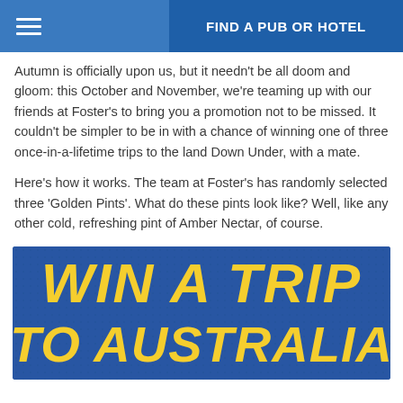FIND A PUB OR HOTEL
Autumn is officially upon us, but it needn't be all doom and gloom: this October and November, we're teaming up with our friends at Foster's to bring you a promotion not to be missed. It couldn't be simpler to be in with a chance of winning one of three once-in-a-lifetime trips to the land Down Under, with a mate.
Here's how it works. The team at Foster's has randomly selected three 'Golden Pints'. What do these pints look like? Well, like any other cold, refreshing pint of Amber Nectar, of course.
[Figure (infographic): Promotional banner with text 'WIN A TRIP TO AUSTRALIA' in large yellow bold italic letters on a dark blue background]